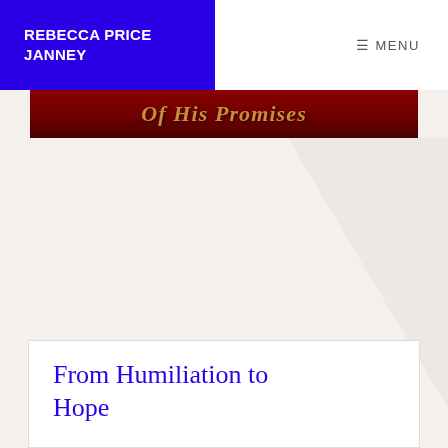REBECCA PRICE JANNEY
≡ MENU
[Figure (photo): Partial view of a book cover with dark red/maroon background and gold italic text, partially visible title text]
From Humiliation to Hope